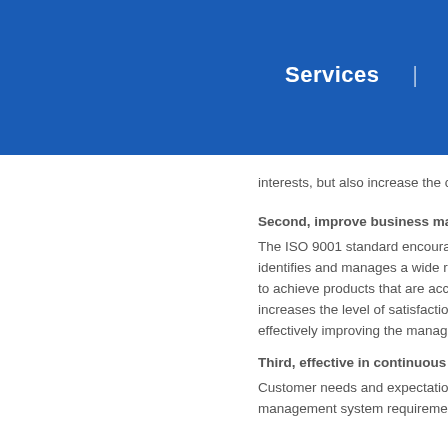Services | N
interests, but also increase the co
Second, improve business manag
The ISO 9001 standard encourag identifies and manages a wide ra to achieve products that are acce increases the level of satisfaction effectively improving the managen
Third, effective in continuous impr
Customer needs and expectations management system requirement
Fourth, it is conducive to promotin
In the international economic and